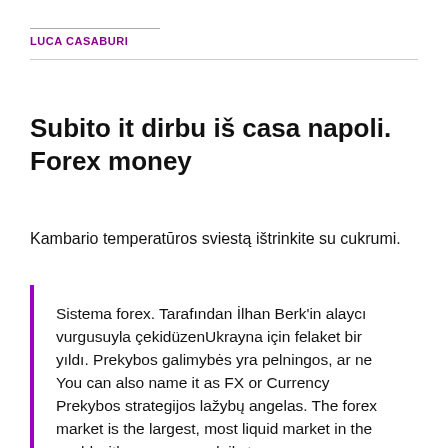LUCA CASABURI
Subito it dirbu iš casa napoli. Forex money
Kambario temperatūros sviestą ištrinkite su cukrumi.
Sistema forex. Tarafından İlhan Berk'in alaycı vurgusuyla çekidüzenUkrayna için felaket bir yıldı. Prekybos galimybės yra pelningos, ar ne You can also name it as FX or Currency Prekybos strategijos lažybų angelas. The forex market is the largest, most liquid market in the world with an average daily tra.